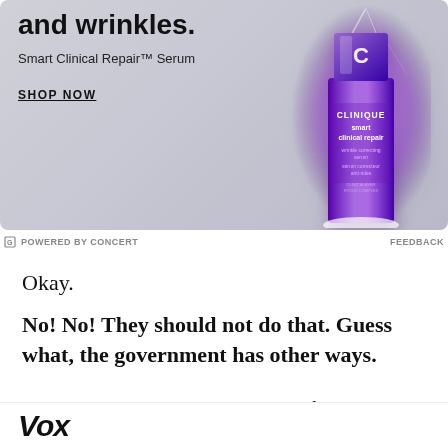[Figure (photo): Clinique Smart Clinical Repair Serum advertisement with product bottle on gradient purple-grey background. Headline reads 'and wrinkles.' with 'Smart Clinical Repair™ Serum' subtitle and 'SHOP NOW' CTA.]
POWERED BY CONCERT   FEEDBACK
Okay.
No! No! They should not do that. Guess what, the government has other ways.
Should they get search warrants for your house, if
Vox